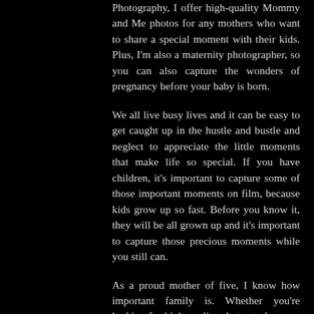Photography, I offer high-quality Mommy and Me photos for any mothers who want to share a special moment with their kids. Plus, I'm also a maternity photographer, so you can also capture the wonders of pregnancy before your baby is born.
We all live busy lives and it can be easy to get caught up in the hustle and bustle and neglect to appreciate the little moments that make life so special. If you have children, it's important to capture some of those important moments on film, because kids grow up so fast. Before you know it, they will be all grown up and it's important to capture those precious moments while you still can.
As a proud mother of five, I know how important family is. Whether you're looking for high-quality photos to hang on your wall, store in an album or share on your Facebook, I can deliver quality